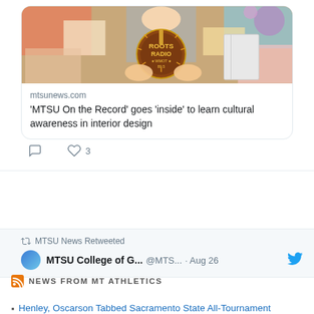[Figure (screenshot): Screenshot of a tweet showing a Roots Radio WMOT 89.5 image with a woman holding design materials]
mtsunews.com
'MTSU On the Record' goes 'inside' to learn cultural awareness in interior design
3 likes
MTSU News Retweeted
MTSU College of G... @MTS... · Aug 26
NEWS FROM MT ATHLETICS
Henley, Oscarson Tabbed Sacramento State All-Tournament